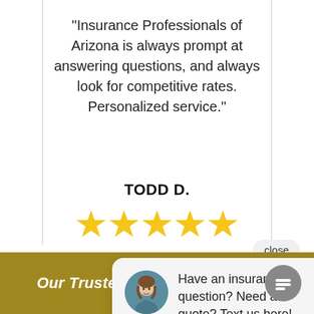“Insurance Professionals of Arizona is always prompt at answering questions, and always look for competitive rates. Personalized service.”
TODD D.
[Figure (other): Five gold star rating icons]
close
[Figure (other): Chat popup with avatar photo of woman and text: Have an insurance question? Need a quote? Text us here!]
Have an insurance question? Need a quote? Text us here!
Our Trusted Insurance Partners.